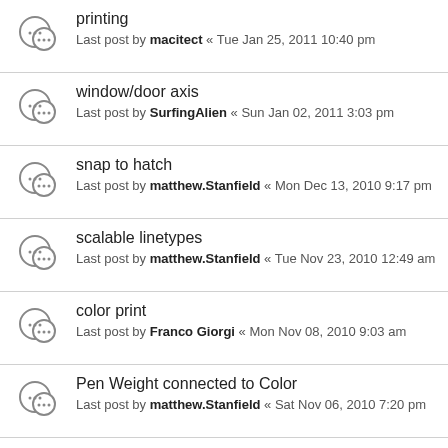printing
Last post by macitect « Tue Jan 25, 2011 10:40 pm
window/door axis
Last post by SurfingAlien « Sun Jan 02, 2011 3:03 pm
snap to hatch
Last post by matthew.Stanfield « Mon Dec 13, 2010 9:17 pm
scalable linetypes
Last post by matthew.Stanfield « Tue Nov 23, 2010 12:49 am
color print
Last post by Franco Giorgi « Mon Nov 08, 2010 9:03 am
Pen Weight connected to Color
Last post by matthew.Stanfield « Sat Nov 06, 2010 7:20 pm
cavity walls